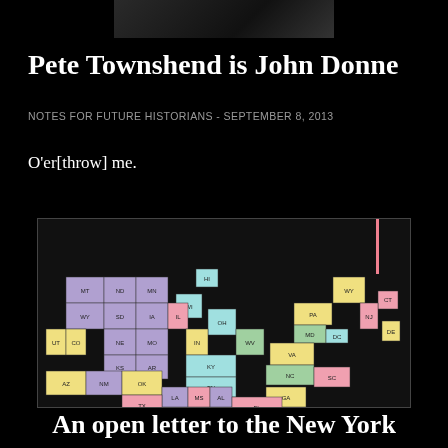[Figure (photo): Dark photo strip at top of page]
Pete Townshend is John Donne
NOTES FOR FUTURE HISTORIANS - SEPTEMBER 8, 2013
O'er[throw] me.
[Figure (map): Stylized map of the United States with states shown as colored blocks in purple, yellow, cyan, pink, and green, with state abbreviations labeled]
An open letter to the New York